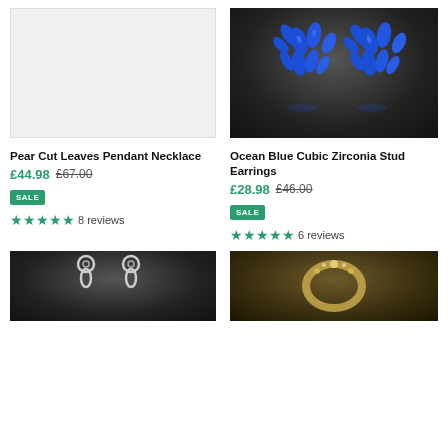[Figure (photo): Light gray placeholder image for Pear Cut Leaves Pendant Necklace]
[Figure (photo): Blue cubic zirconia stud earrings on dark gradient background]
Pear Cut Leaves Pendant Necklace
£44.98  £67.00  SALE  ★★★★★ 8 reviews
Ocean Blue Cubic Zirconia Stud Earrings
£28.98  £46.00  SALE  ★★★★★ 6 reviews
[Figure (photo): Silver drop earrings on dark background]
[Figure (photo): Gold-toned ring with crystals on dark background]